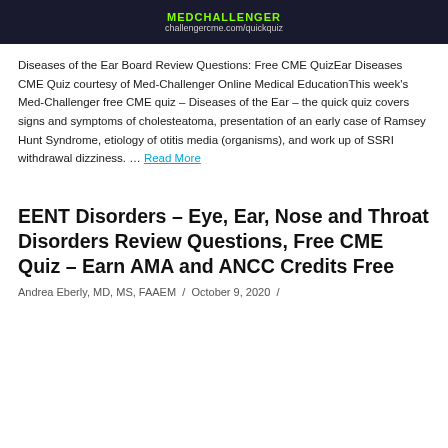[Figure (screenshot): Top banner image with MedChallenger logo and URL challengercme.com/quickquiz on dark background]
Diseases of the Ear Board Review Questions: Free CME QuizEar Diseases CME Quiz courtesy of Med-Challenger Online Medical EducationThis week's Med-Challenger free CME quiz – Diseases of the Ear – the quick quiz covers  signs and symptoms of cholesteatoma, presentation of an early case of Ramsey Hunt Syndrome, etiology of otitis media (organisms), and work up of SSRI withdrawal dizziness. … Read More
EENT Disorders – Eye, Ear, Nose and Throat Disorders Review Questions, Free CME Quiz – Earn AMA and ANCC Credits Free
Andrea Eberly, MD, MS, FAAEM  /  October 9, 2020  /